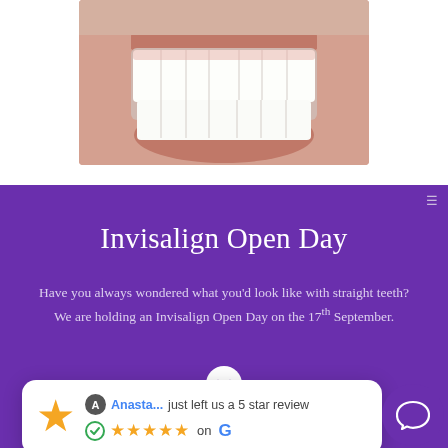[Figure (photo): Close-up photo of a person's smile showing straight white teeth and lips]
Invisalign Open Day
Have you always wondered what you'd look like with straight teeth?
We are holding an Invisalign Open Day on the 17th September.
[Figure (screenshot): Review notification card: Anasta... just left us a 5 star review with 5 orange stars on Google]
Tags: composite bonding dalston, dental beauty dalston, smile